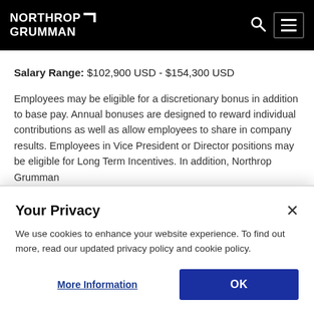Northrop Grumman
Salary Range: $102,900 USD - $154,300 USD
Employees may be eligible for a discretionary bonus in addition to base pay. Annual bonuses are designed to reward individual contributions as well as allow employees to share in company results. Employees in Vice President or Director positions may be eligible for Long Term Incentives. In addition, Northrop Grumman
Your Privacy
We use cookies to enhance your website experience. To find out more, read our updated privacy policy and cookie policy.
More Information
OK